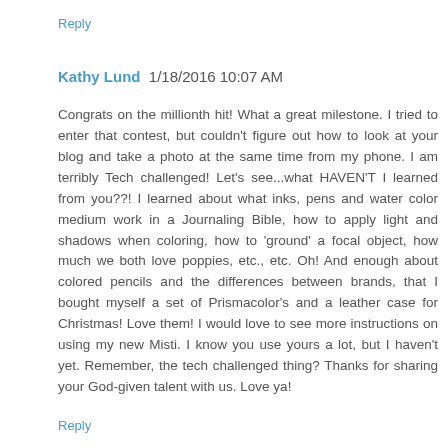Reply
Kathy Lund  1/18/2016 10:07 AM
Congrats on the millionth hit! What a great milestone. I tried to enter that contest, but couldn't figure out how to look at your blog and take a photo at the same time from my phone. I am terribly Tech challenged! Let's see...what HAVEN'T I learned from you??! I learned about what inks, pens and water color medium work in a Journaling Bible, how to apply light and shadows when coloring, how to 'ground' a focal object, how much we both love poppies, etc., etc. Oh! And enough about colored pencils and the differences between brands, that I bought myself a set of Prismacolor's and a leather case for Christmas! Love them! I would love to see more instructions on using my new Misti. I know you use yours a lot, but I haven't yet. Remember, the tech challenged thing? Thanks for sharing your God-given talent with us. Love ya!
Reply